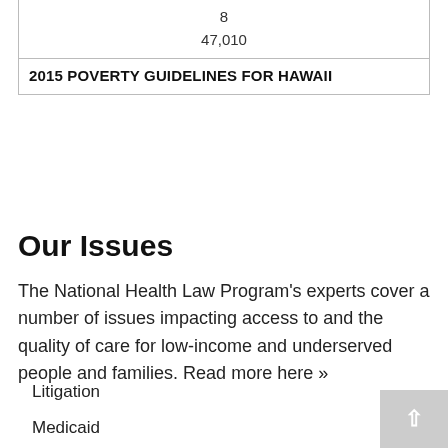| 8 |
| 47,010 |
| 2015 POVERTY GUIDELINES FOR HAWAII |
Our Issues
The National Health Law Program's experts cover a number of issues impacting access to and the quality of care for low-income and underserved people and families. Read more here »
Litigation
Medicaid